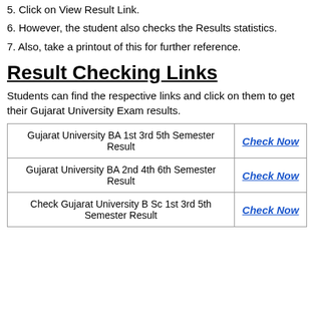5. Click on View Result Link.
6. However, the student also checks the Results statistics.
7. Also, take a printout of this for further reference.
Result Checking Links
Students can find the respective links and click on them to get their Gujarat University Exam results.
|  |  |
| --- | --- |
| Gujarat University BA 1st 3rd 5th Semester Result | Check Now |
| Gujarat University BA 2nd 4th 6th Semester Result | Check Now |
| Check Gujarat University B Sc 1st 3rd 5th Semester Result | Check Now |